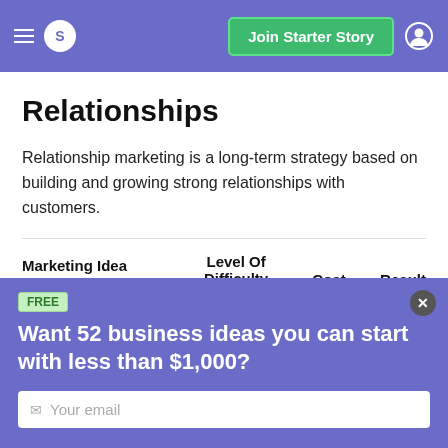S  Join Starter Story
Relationships
Relationship marketing is a long-term strategy based on building and growing strong relationships with customers.
| Marketing Idea | Level Of Difficulty | Cost | Result |
| --- | --- | --- | --- |
FREE
Want 52 business ideas you can start with less than $1,000?
Your email